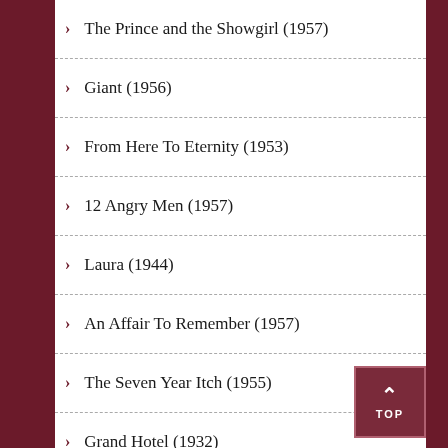The Prince and the Showgirl (1957)
Giant (1956)
From Here To Eternity (1953)
12 Angry Men (1957)
Laura (1944)
An Affair To Remember (1957)
The Seven Year Itch (1955)
Grand Hotel (1932)
She Done Him Wrong (1933)
Roman Holiday (1953)
The Misfits (1961)